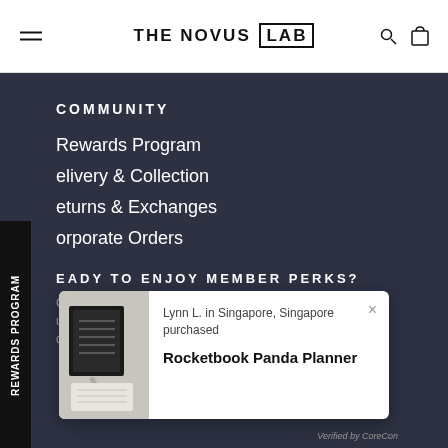THE NOVUS LAB
COMMUNITY
Rewards Program
Delivery & Collection
Returns & Exchanges
Corporate Orders
READY TO ENJOY MEMBER PERKS?
Get... with us! dis...
[Figure (screenshot): Popup notification card showing Lynn L. in Singapore, Singapore purchased Rocketbook Panda Planner, with product image on the left and a close button. Verified by CoreCon shown at the bottom.]